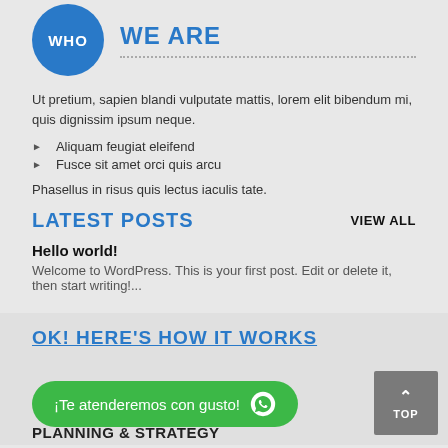WHO WE ARE
Ut pretium, sapien blandi vulputate mattis, lorem elit bibendum mi, quis dignissim ipsum neque.
Aliquam feugiat eleifend
Fusce sit amet orci quis arcu
Phasellus in risus quis lectus iaculis tate.
LATEST POSTS
Hello world!
Welcome to WordPress. This is your first post. Edit or delete it, then start writing!...
OK! HERE'S HOW IT WORKS
¡Te atenderemos con gusto!
PLANNING & STRATEGY